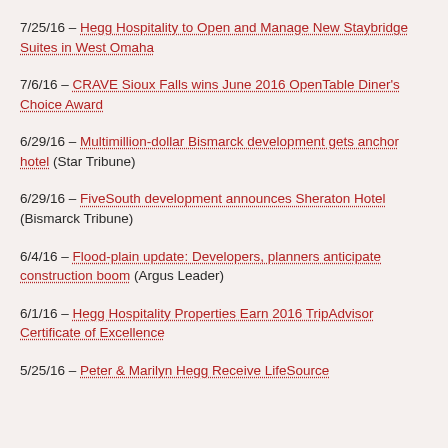7/25/16 – Hegg Hospitality to Open and Manage New Staybridge Suites in West Omaha
7/6/16 – CRAVE Sioux Falls wins June 2016 OpenTable Diner's Choice Award
6/29/16 – Multimillion-dollar Bismarck development gets anchor hotel (Star Tribune)
6/29/16 – FiveSouth development announces Sheraton Hotel (Bismarck Tribune)
6/4/16 – Flood-plain update: Developers, planners anticipate construction boom (Argus Leader)
6/1/16 – Hegg Hospitality Properties Earn 2016 TripAdvisor Certificate of Excellence
5/25/16 – Peter & Marilyn Hegg Receive LifeSource